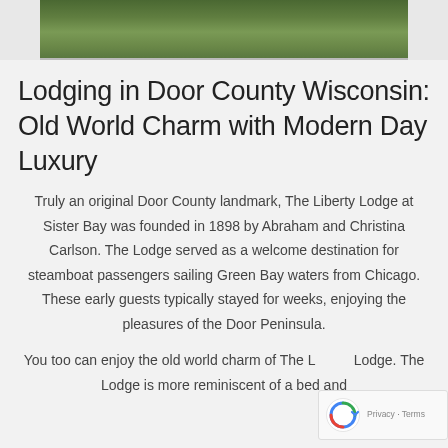[Figure (photo): Partial view of grass/green landscape photo strip at top of page]
Lodging in Door County Wisconsin: Old World Charm with Modern Day Luxury
Truly an original Door County landmark, The Liberty Lodge at Sister Bay was founded in 1898 by Abraham and Christina Carlson. The Lodge served as a welcome destination for steamboat passengers sailing Green Bay waters from Chicago. These early guests typically stayed for weeks, enjoying the pleasures of the Door Peninsula.
You too can enjoy the old world charm of The Liberty Lodge. The Lodge is more reminiscent of a bed and